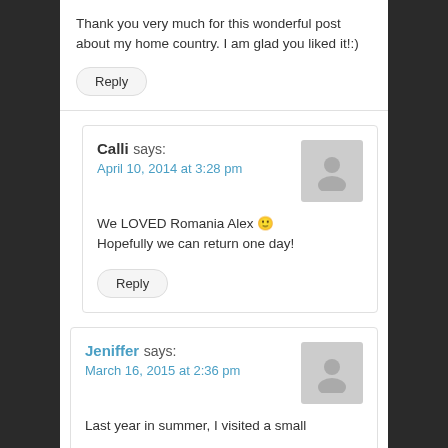Thank you very much for this wonderful post about my home country. I am glad you liked it!:)
Reply
Calli says: April 10, 2014 at 3:28 pm
We LOVED Romania Alex 🙂 Hopefully we can return one day!
Reply
Jeniffer says: March 16, 2015 at 2:36 pm
Last year in summer, I visited a small